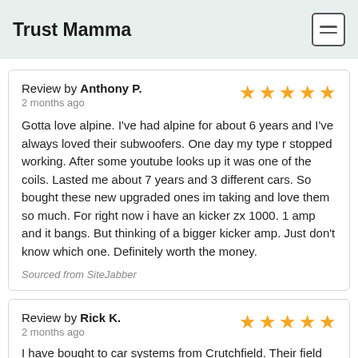Trust Mamma
Review by Anthony P.
2 months ago

Gotta love alpine. I've had alpine for about 6 years and I've always loved their subwoofers. One day my type r stopped working. After some youtube looks up it was one of the coils. Lasted me about 7 years and 3 different cars. So bought these new upgraded ones im taking and love them so much. For right now i have an kicker zx 1000. 1 amp and it bangs. But thinking of a bigger kicker amp. Just don't know which one. Definitely worth the money.

Sourced from SiteJabber
Review by Rick K.
2 months ago

I have bought to car systems from Crutchfield. Their field